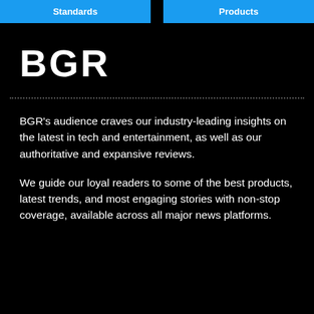Standards    Products
[Figure (logo): BGR logo in white bold text on black background]
BGR's audience craves our industry-leading insights on the latest in tech and entertainment, as well as our authoritative and expansive reviews.
We guide our loyal readers to some of the best products, latest trends, and most engaging stories with non-stop coverage, available across all major news platforms.